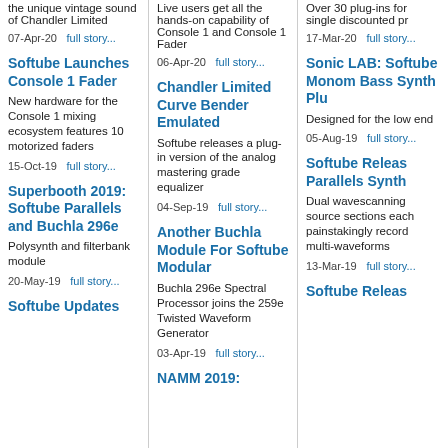the unique vintage sound of Chandler Limited
07-Apr-20  full story...
Softube Launches Console 1 Fader
New hardware for the Console 1 mixing ecosystem features 10 motorized faders
15-Oct-19  full story...
Superbooth 2019: Softube Parallels and Buchla 296e
Polysynth and filterbank module
20-May-19  full story...
Softube Updates
Live users get all the hands-on capability of Console 1 and Console 1 Fader
06-Apr-20  full story...
Chandler Limited Curve Bender Emulated
Softube releases a plug-in version of the analog mastering grade equalizer
04-Sep-19  full story...
Another Buchla Module For Softube Modular
Buchla 296e Spectral Processor joins the 259e Twisted Waveform Generator
03-Apr-19  full story...
NAMM 2019:
Over 30 plug-ins for single discounted pr
17-Mar-20  full story...
Sonic LAB: Softube Monom Bass Synth Plu
Designed for the low end
05-Aug-19  full story...
Softube Releas Parallels Synth
Dual wavescanning source sections each painstakingly record multi-waveforms
13-Mar-19  full story...
Softube Releas